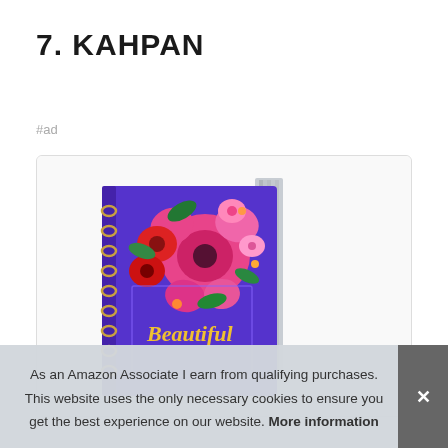7. KAHPAN
#ad
[Figure (photo): A spiral-bound notebook/planner with a purple cover decorated with watercolor pink and red flowers, titled 'Beautiful' in gold script lettering.]
As an Amazon Associate I earn from qualifying purchases. This website uses the only necessary cookies to ensure you get the best experience on our website. More information